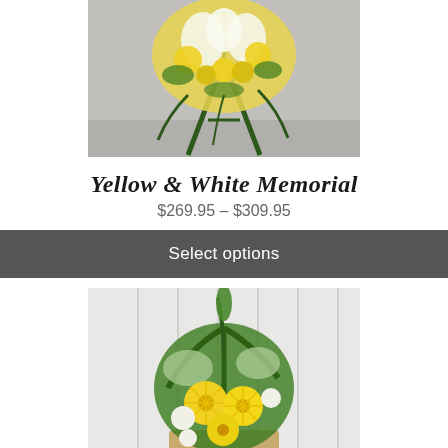[Figure (photo): Yellow and white floral memorial spray arrangement on a green easel stand, photographed against a gray background.]
Yellow & White Memorial
$269.95 – $309.95
Select options
[Figure (photo): Yellow spider chrysanthemums and white flowers with green foliage in a funeral basket arrangement against a white draped background.]